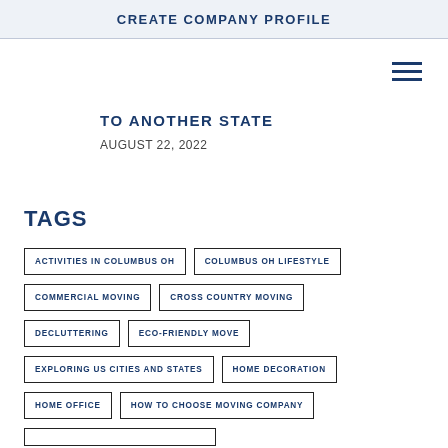CREATE COMPANY PROFILE
TO ANOTHER STATE
AUGUST 22, 2022
TAGS
ACTIVITIES IN COLUMBUS OH
COLUMBUS OH LIFESTYLE
COMMERCIAL MOVING
CROSS COUNTRY MOVING
DECLUTTERING
ECO-FRIENDLY MOVE
EXPLORING US CITIES AND STATES
HOME DECORATION
HOME OFFICE
HOW TO CHOOSE MOVING COMPANY